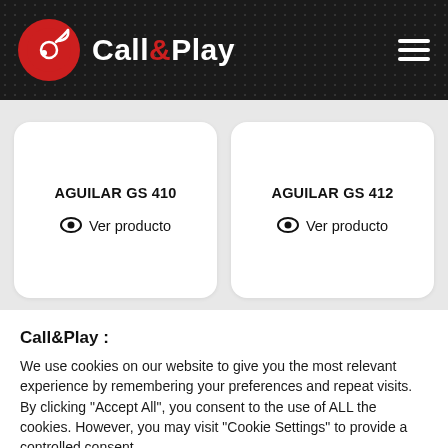Call&Play
AGUILAR GS 410 — Ver producto
AGUILAR GS 412 — Ver producto
Call&Play :
We use cookies on our website to give you the most relevant experience by remembering your preferences and repeat visits. By clicking "Accept All", you consent to the use of ALL the cookies. However, you may visit "Cookie Settings" to provide a controlled consent.
Cookie Settings | Accept All